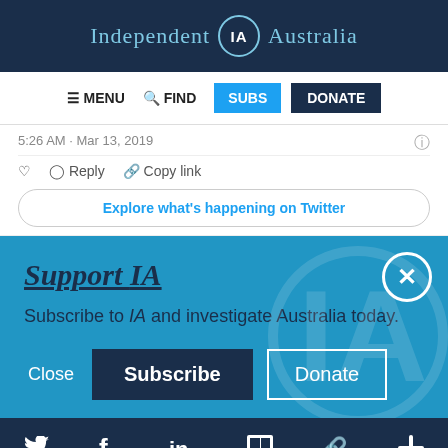Independent IA Australia
[Figure (screenshot): Navigation bar with MENU, FIND, SUBS (blue), DONATE (dark) buttons]
5:26 AM · Mar 13, 2019
♡  Reply  Copy link
Explore what's happening on Twitter
Support IA
Subscribe to IA and investigate Australia today.
Close  Subscribe  Donate
Twitter  Facebook  LinkedIn  Flipboard  Link  Plus